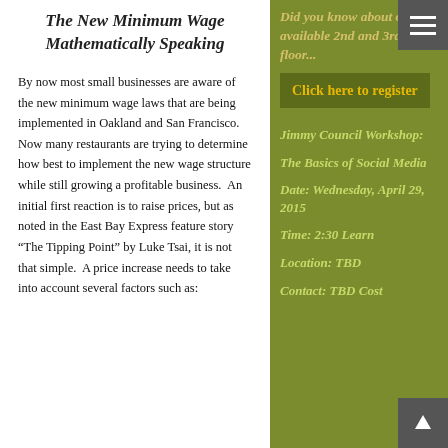The New Minimum Wage Mathematically Speaking
By now most small businesses are aware of the new minimum wage laws that are being implemented in Oakland and San Francisco. Now many restaurants are trying to determine how best to implement the new wage structure while still growing a profitable business.  An initial first reaction is to raise prices, but as noted in the East Bay Express feature story “The Tipping Point” by Luke Tsai, it is not that simple.  A price increase needs to take into account several factors such as:
Click here to register
Jimmy Council Workshop:
The Basics of Social Media
Date: Wednesday, April 29, 2015
Time: 2:30 Learn
Location: TBD
Contact: TBD Cost